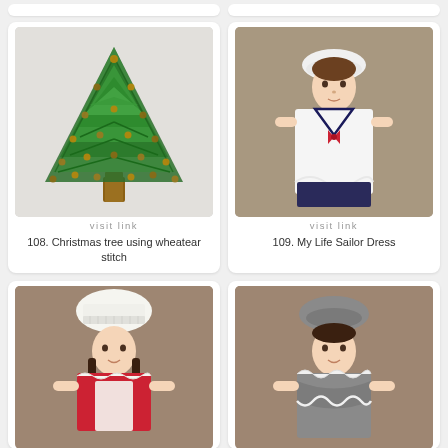[Figure (photo): Embroidered Christmas tree on fabric using wheatear stitch, with green branches and gold/brown ornaments]
visit link
108. Christmas tree using wheatear stitch
[Figure (photo): American Girl doll wearing white sailor dress with navy trim and red bow tie, with white beret]
visit link
109. My Life Sailor Dress
[Figure (photo): American Girl doll wearing red and white crochet outfit with white chef hat]
[Figure (photo): American Girl doll wearing gray crochet dress with white trim and gray beret]